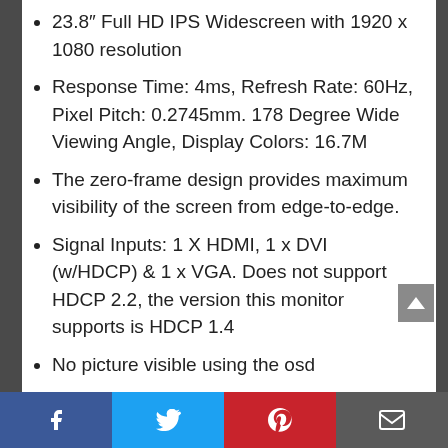23.8″ Full HD IPS Widescreen with 1920 x 1080 resolution
Response Time: 4ms, Refresh Rate: 60Hz, Pixel Pitch: 0.2745mm. 178 Degree Wide Viewing Angle, Display Colors: 16.7M
The zero-frame design provides maximum visibility of the screen from edge-to-edge.
Signal Inputs: 1 X HDMI, 1 x DVI (w/HDCP) & 1 x VGA. Does not support HDCP 2.2, the version this monitor supports is HDCP 1.4
No picture visible using the osd